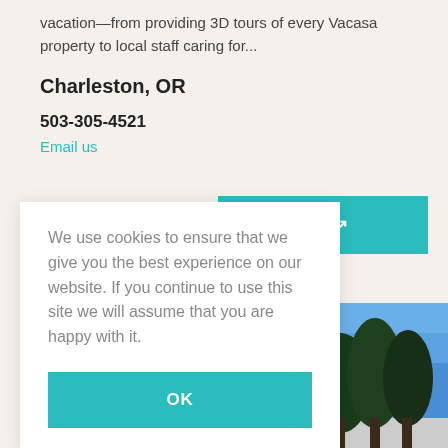vacation—from providing 3D tours of every Vacasa property to local staff caring for...
Charleston, OR
503-305-4521
Email us
ow ↗
We use cookies to ensure that we give you the best experience on our website. If you continue to use this site we will assume that you are happy with it.
OK
[Figure (photo): Outdoor photo showing trees with dark green foliage against a blue sky, with a building roofline visible at the bottom.]